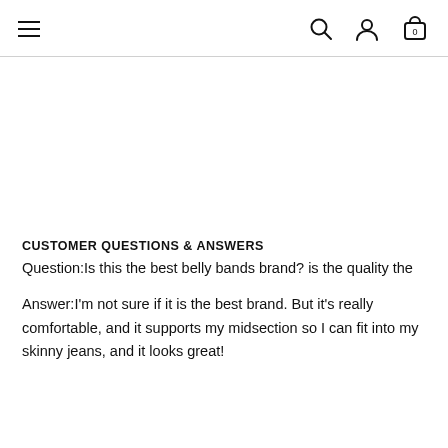Navigation bar with hamburger menu, search, user, and cart icons
CUSTOMER QUESTIONS & ANSWERS
Question:Is this the best belly bands brand? is the quality the
Answer:I'm not sure if it is the best brand. But it's really comfortable, and it supports my midsection so I can fit into my skinny jeans, and it looks great!